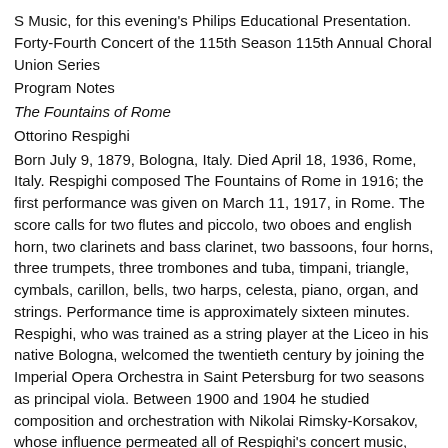S Music, for this evening's Philips Educational Presentation. Forty-Fourth Concert of the 115th Season 115th Annual Choral Union Series
Program Notes
The Fountains of Rome
Ottorino Respighi
Born July 9, 1879, Bologna, Italy. Died April 18, 1936, Rome, Italy. Respighi composed The Fountains of Rome in 1916; the first performance was given on March 11, 1917, in Rome. The score calls for two flutes and piccolo, two oboes and english horn, two clarinets and bass clarinet, two bassoons, four horns, three trumpets, three trombones and tuba, timpani, triangle, cymbals, carillon, bells, two harps, celesta, piano, organ, and strings. Performance time is approximately sixteen minutes. Respighi, who was trained as a string player at the Liceo in his native Bologna, welcomed the twentieth century by joining the Imperial Opera Orchestra in Saint Petersburg for two seasons as principal viola. Between 1900 and 1904 he studied composition and orchestration with Nikolai Rimsky-Korsakov, whose influence permeated all of Respighi's concert music, despite a later interest in Gregorian music that produced a series of modal works. He also attended lectures by Max Bruch in Berlin during 1908 and 1909, but his training in Russia